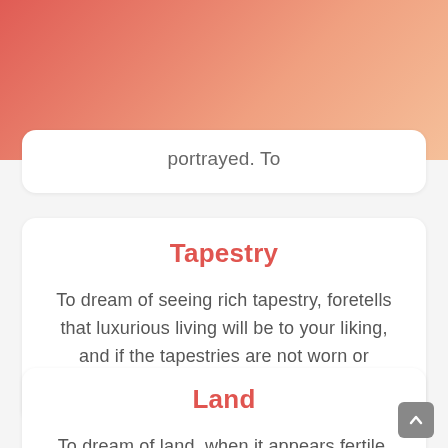portrayed. To
Tapestry
To dream of seeing rich tapestry, foretells that luxurious living will be to your liking, and if the tapestries are not worn or ragged, you
Land
To dream of land, when it appears fertile, omens good; but if sterile and rocky,